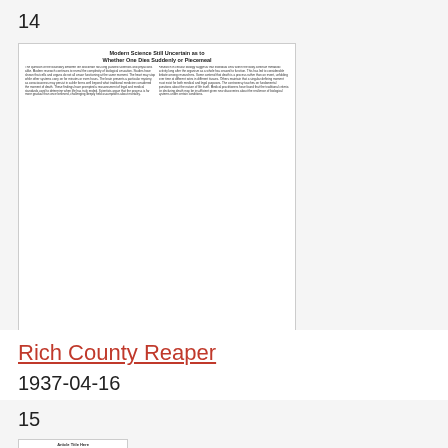14
[Figure (photo): Scanned newspaper article image with headline 'Modern Science Still Uncertain as to Whether one Dies Suddenly or Piecemeal']
Rich County Reaper
1937-04-16
8
Modern Science Still Uncertain as to Whether on E Dies Suddenly or Piecemeal
death
15
[Figure (photo): Partial scanned newspaper article image at bottom of page]